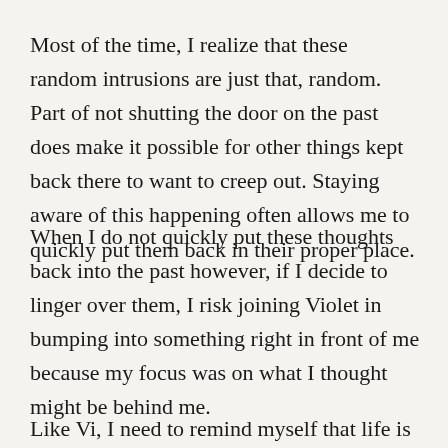Most of the time, I realize that these random intrusions are just that, random. Part of not shutting the door on the past does make it possible for other things kept back there to want to creep out. Staying aware of this happening often allows me to quickly put them back in their proper place.
When I do not quickly put these thoughts back into the past however, if I decide to linger over them, I risk joining Violet in bumping into something right in front of me because my focus was on what I thought might be behind me.
Like Vi, I need to remind myself that life is